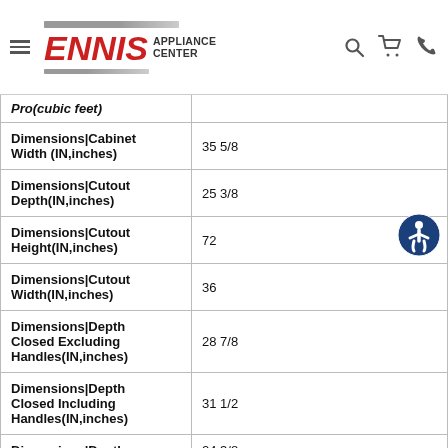Ennis Appliance Center navigation header
| Specification | Value |
| --- | --- |
| Dimensions|Cabinet Width (IN,inches) | 35 5/8 |
| Dimensions|Cutout Depth(IN,inches) | 25 3/8 |
| Dimensions|Cutout Height(IN,inches) | 72 |
| Dimensions|Cutout Width(IN,inches) | 36 |
| Dimensions|Depth Closed Excluding Handles(IN,inches) | 28 7/8 |
| Dimensions|Depth Closed Including Handles(IN,inches) | 31 1/2 |
| Dimensions|Depth | 24 3/8 |